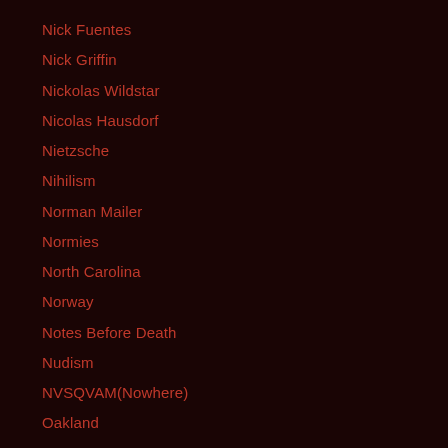Nick Fuentes
Nick Griffin
Nickolas Wildstar
Nicolas Hausdorf
Nietzsche
Nihilism
Norman Mailer
Normies
North Carolina
Norway
Notes Before Death
Nudism
NVSQVAM(Nowhere)
Oakland